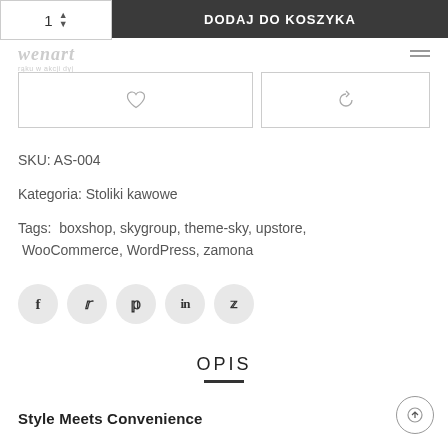[Figure (screenshot): Add to cart bar with quantity selector showing '1' and button labeled 'DODAJ DO KOSZYKA']
[Figure (logo): Wenart logo with tagline]
[Figure (other): Wishlist heart icon button and compare/refresh icon button]
SKU: AS-004
Kategoria: Stoliki kawowe
Tags: boxshop, skygroup, theme-sky, upstore, WooCommerce, WordPress, zamona
[Figure (other): Social share icons: Facebook, Twitter, Pinterest, LinkedIn, Reddit]
OPIS
Style Meets Convenience